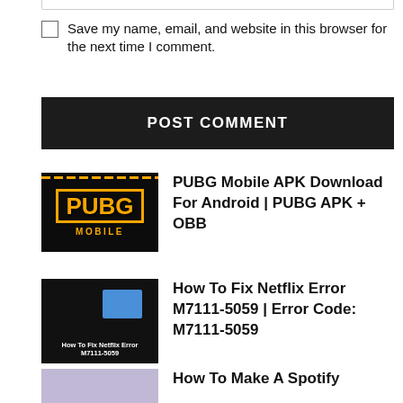Save my name, email, and website in this browser for the next time I comment.
POST COMMENT
PUBG Mobile APK Download For Android | PUBG APK + OBB
[Figure (screenshot): PUBG Mobile logo on black background with orange text]
How To Fix Netflix Error M7111-5059 | Error Code: M7111-5059
[Figure (screenshot): How To Fix Netflix Error M7111-5059 thumbnail on dark background]
How To Make A Spotify